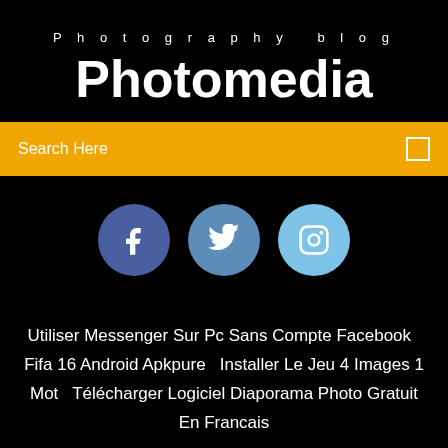Photography blog
Photomedia
Search Here
[Figure (infographic): Three social media circular icon buttons: Facebook (dark blue), Twitter (medium blue), Instagram (light blue)]
Utiliser Messenger Sur Pc Sans Compte Facebook   Fifa 16 Android Apkpure   Installer Le Jeu 4 Images 1 Mot   Télécharger Logiciel Diaporama Photo Gratuit En Francais